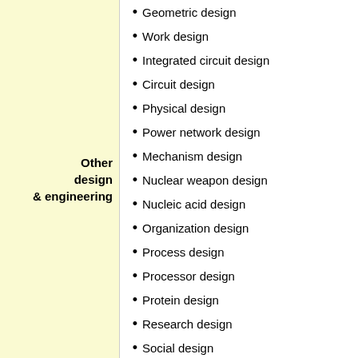Other design & engineering
Geometric design
Work design
Integrated circuit design
Circuit design
Physical design
Power network design
Mechanism design
Nuclear weapon design
Nucleic acid design
Organization design
Process design
Processor design
Protein design
Research design
Social design
Software design
Spacecraft design
Strategic design